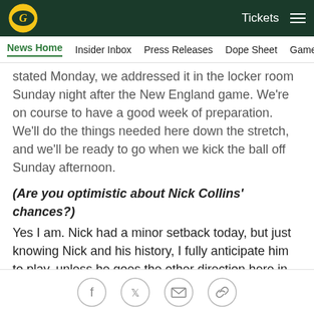Green Bay Packers – Tickets [navigation bar]
News Home | Insider Inbox | Press Releases | Dope Sheet | Game…
stated Monday, we addressed it in the locker room Sunday night after the New England game. We're on course to have a good week of preparation. We'll do the things needed here down the stretch, and we'll be ready to go when we kick the ball off Sunday afternoon.
(Are you optimistic about Nick Collins' chances?) Yes I am. Nick had a minor setback today, but just knowing Nick and his history, I fully anticipate him to play, unless he goes the other direction here in the next 48 hours.
(He's played through a lot before and he's a pretty